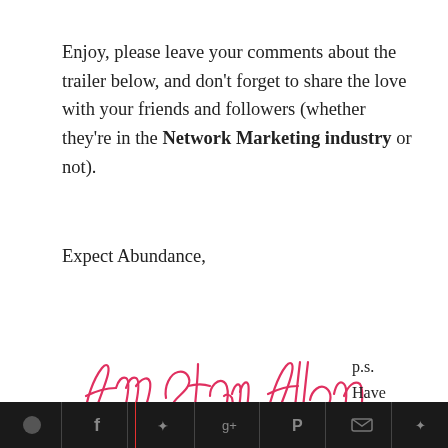Enjoy, please leave your comments about the trailer below, and don't forget to share the love with your friends and followers (whether they're in the Network Marketing industry or not).
Expect Abundance,
[Figure (illustration): Handwritten cursive signature reading 'Amy Starr Allen' in pink/red ink]
p.s. Have you gotten
[Social media sharing icons bar]